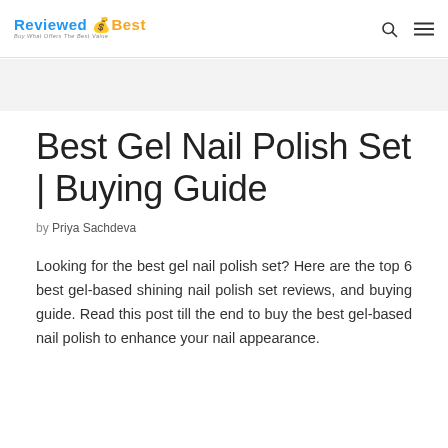REVIEWED BEST — Buy What Offers The Best Value
Best Gel Nail Polish Set | Buying Guide
by Priya Sachdeva
Looking for the best gel nail polish set? Here are the top 6 best gel-based shining nail polish set reviews, and buying guide. Read this post till the end to buy the best gel-based nail polish to enhance your nail appearance.